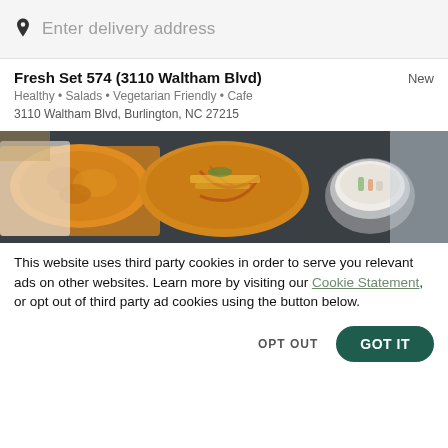Enter delivery address
Fresh Set 574 (3110 Waltham Blvd)
Healthy • Salads • Vegetarian Friendly • Cafe
3110 Waltham Blvd, Burlington, NC 27215
[Figure (photo): Food photo showing fried chicken, a burger with toppings, and coleslaw on a dark tray]
This website uses third party cookies in order to serve you relevant ads on other websites. Learn more by visiting our Cookie Statement, or opt out of third party ad cookies using the button below.
OPT OUT
GOT IT